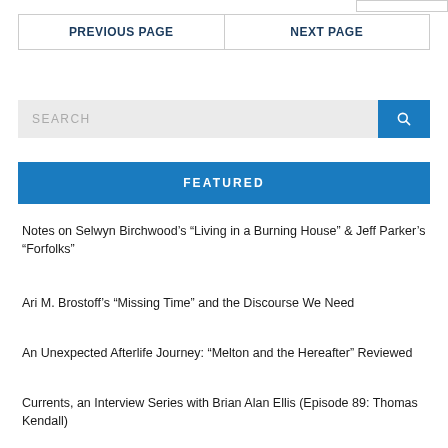| PREVIOUS PAGE | NEXT PAGE |
| --- | --- |
SEARCH
FEATURED
Notes on Selwyn Birchwood’s “Living in a Burning House” & Jeff Parker’s “Forfolks”
Ari M. Brostoff’s “Missing Time” and the Discourse We Need
An Unexpected Afterlife Journey: “Melton and the Hereafter” Reviewed
Currents, an Interview Series with Brian Alan Ellis (Episode 89: Thomas Kendall)